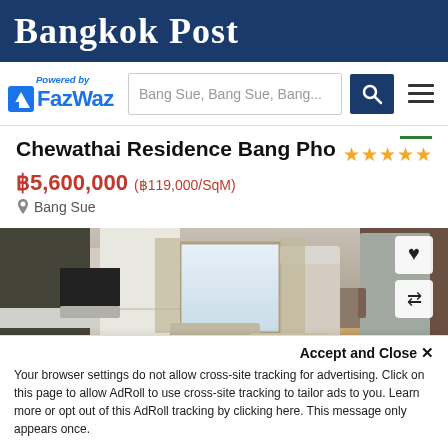Bangkok Post
[Figure (logo): FazWaz logo with 'Powered by' text, search bar showing 'Bang Sue, Bang Sue, Bang...', search button, and hamburger menu]
Chewathai Residence Bang Pho
฿5,600,000 (฿119,000/SqM)
Bang Sue
[Figure (photo): Interior photo of a modern condo unit showing kitchen with black backsplash, white cabinets, dining area, living room with sofa, and large window/balcony door. Stainless steel refrigerator visible on the right. Heart icon and swap icon overlay buttons in top right.]
Accept and Close ×
Your browser settings do not allow cross-site tracking for advertising. Click on this page to allow AdRoll to use cross-site tracking to tailor ads to you. Learn more or opt out of this AdRoll tracking by clicking here. This message only appears once.